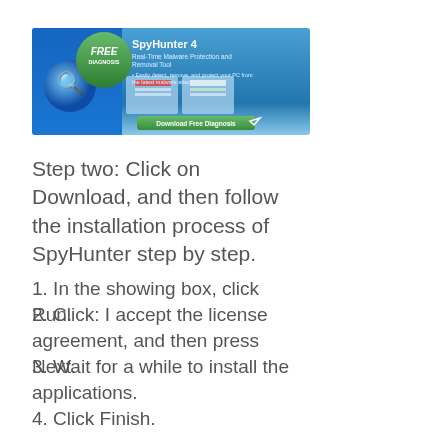[Figure (screenshot): SpyHunter 4 advertisement banner with Free Diagnosis badge, product screenshots, and a Download Free Diagnosis green button]
Step two: Click on Download, and then follow the installation process of SpyHunter step by step.
1. In the showing box, click Run.
2. Click: I accept the license agreement, and then press Next.
3. Wait for a while to install the applications.
4. Click Finish.
5. After installation, you can click Yes to restart your computer to make SpyHunter effect, or press No, if you'd like to restart it later.